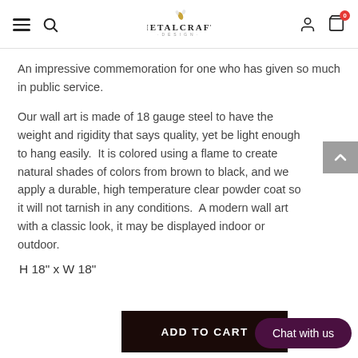MetalCraft Design
An impressive commemoration for one who has given so much in public service.
Our wall art is made of 18 gauge steel to have the weight and rigidity that says quality, yet be light enough to hang easily.  It is colored using a flame to create natural shades of colors from brown to black, and we apply a durable, high temperature clear powder coat so it will not tarnish in any conditions.  A modern wall art with a classic look, it may be displayed indoor or outdoor.
H 18" x W 18"